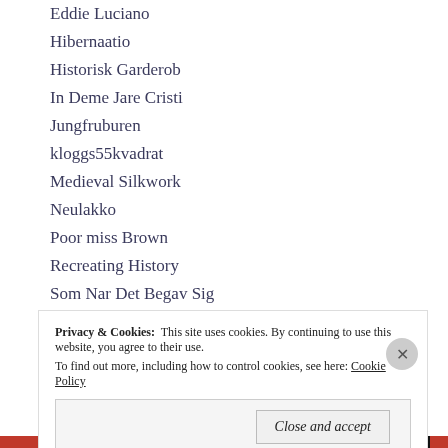Eddie Luciano
Hibernaatio
Historisk Garderob
In Deme Jare Cristi
Jungfruburen
kloggs55kvadrat
Medieval Silkwork
Neulakko
Poor miss Brown
Recreating History
Som Nar Det Begav Sig
Tacuinum Medievale
Ylvas Historiska Skrädderi
Privacy & Cookies: This site uses cookies. By continuing to use this website, you agree to their use.
To find out more, including how to control cookies, see here: Cookie Policy
Close and accept